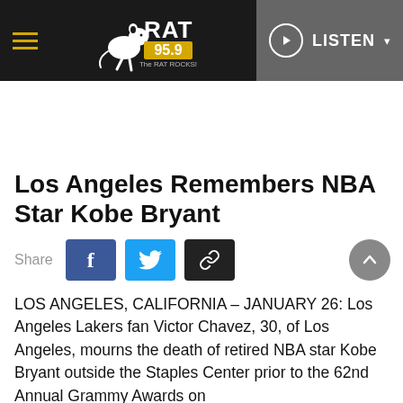RAT 95.9 The RAT ROCKS! — LISTEN
Los Angeles Remembers NBA Star Kobe Bryant
Share
LOS ANGELES, CALIFORNIA – JANUARY 26: Los Angeles Lakers fan Victor Chavez, 30, of Los Angeles, mourns the death of retired NBA star Kobe Bryant outside the Staples Center prior to the 62nd Annual Grammy Awards on